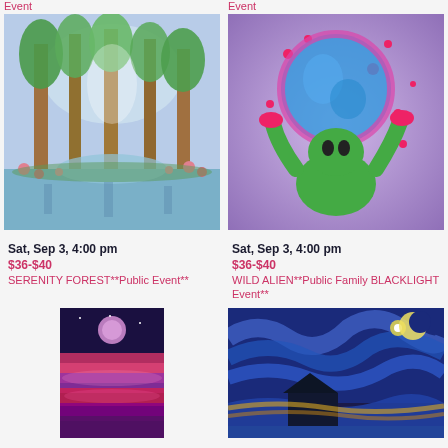Event
[Figure (illustration): Painting of a serene forest path with tall green trees and pink flowers reflected in water]
Event
[Figure (illustration): Painting of a green alien character reaching up toward a large blue moon on purple background with pink splashes]
Sat, Sep 3, 4:00 pm
$36-$40
SERENITY FOREST**Public Event**
Sat, Sep 3, 4:00 pm
$36-$40
WILD ALIEN**Public Family BLACKLIGHT Event**
[Figure (illustration): Painting of a vivid pink and purple sunset landscape with a moon]
[Figure (illustration): Painting in starry night style with blue swirls and crescent moon over a house]